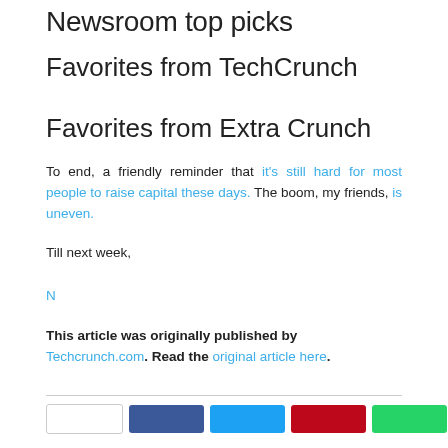Newsroom top picks
Favorites from TechCrunch
Favorites from Extra Crunch
To end, a friendly reminder that it's still hard for most people to raise capital these days. The boom, my friends, is uneven.
Till next week,
N
This article was originally published by Techcrunch.com. Read the original article here.